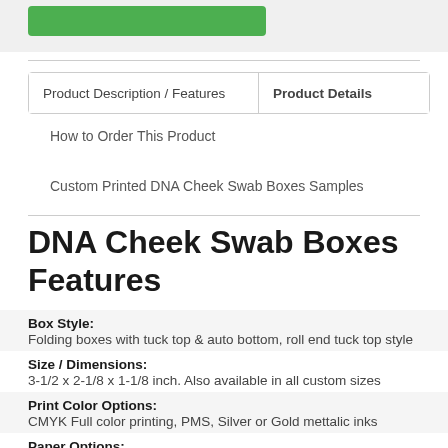[Figure (screenshot): Top portion of a product page with a green button and light gray background image area]
Product Description / Features
Product Details
How to Order This Product
Custom Printed DNA Cheek Swab Boxes Samples
DNA Cheek Swab Boxes Features
Box Style:
Folding boxes with tuck top & auto bottom, roll end tuck top style
Size / Dimensions:
3-1/2 x 2-1/8 x 1-1/8 inch. Also available in all custom sizes
Print Color Options:
CMYK Full color printing, PMS, Silver or Gold mettalic inks
Paper Options:
18pt, 24pt, 22pt, White Kraft, Brown Kraft & textured Linen stock